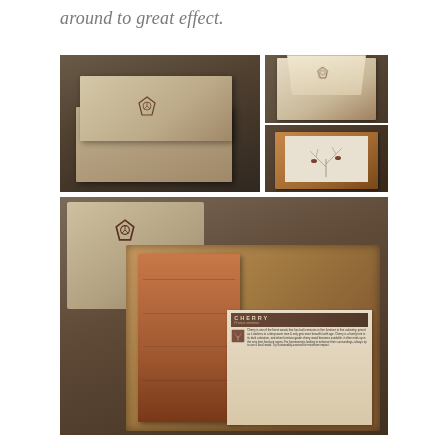around to great effect.
[Figure (photo): Product photography collage showing wooden gift boxes with a tree/shield logo. Top-left: large photo of a closed kraft/linen-covered gift box on a wooden surface. Top-right-top: open box showing tissue paper. Top-right-bottom: open wooden box with illustrated card showing birds on branches. Bottom: large photo of open box revealing a cherry wood block and descriptive card labeled 'CHERRY Prunus serotina'.]